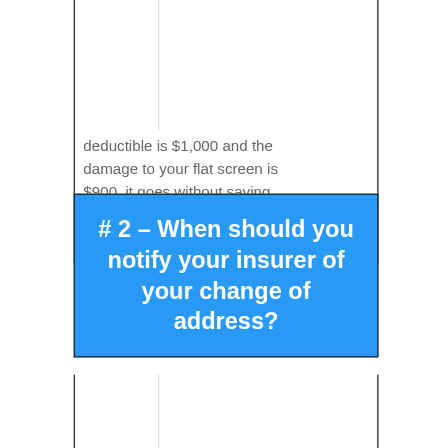deductible is $1,000 and the damage to your flat screen is $900, it goes without saying that you can't claim the damage from your insurance.
# 2 – When should you notify your insurer of your change of address?
We mentioned before that it is important to let your insurer or your home